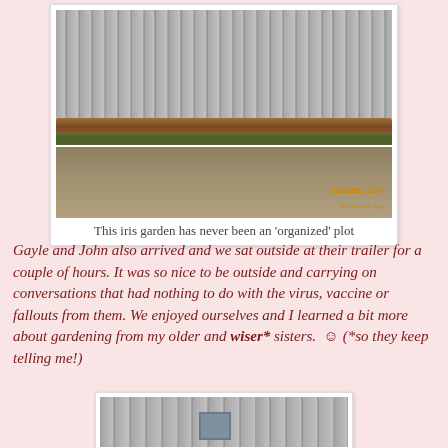[Figure (photo): Photo of an iris garden bed along a weathered wooden fence, with a log border and sparse plants against dry ground. Timestamp visible in orange.]
This iris garden has never been an 'organized' plot
Gayle and John also arrived and we sat outside at their trailer for a couple of hours. It was so nice to be outside and carrying on conversations that had nothing to do with the virus, vaccine or fallouts from them. We enjoyed ourselves and I learned a bit more about gardening from my older and wiser* sisters. ☺ (*so they keep telling me!)
[Figure (photo): Partial photo of weathered wooden fence boards, visible at bottom of page.]